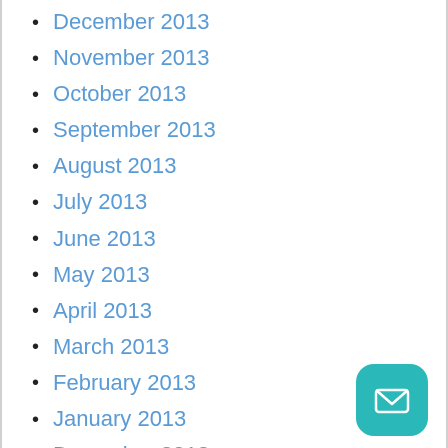December 2013
November 2013
October 2013
September 2013
August 2013
July 2013
June 2013
May 2013
April 2013
March 2013
February 2013
January 2013
December 2012
November 2012
October 2012
September 2012
October 2011
September 2011